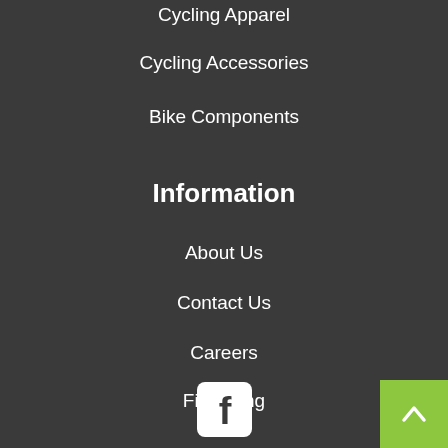Cycling Apparel
Cycling Accessories
Bike Components
Information
About Us
Contact Us
Careers
Financing
[Figure (logo): Facebook logo icon - white 'f' on rounded square background]
[Figure (other): Back to top button - green square with upward chevron arrow]